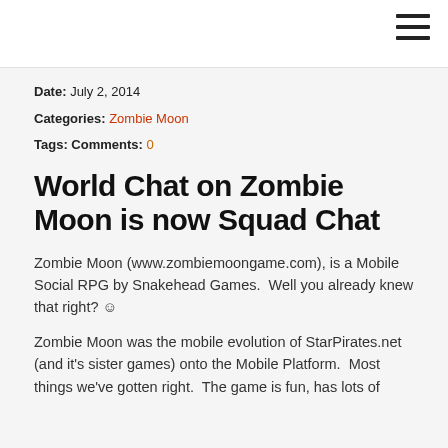Date:  July 2, 2014
Categories:  Zombie Moon
Tags:  Comments:  0
World Chat on Zombie Moon is now Squad Chat
Zombie Moon (www.zombiemoongame.com), is a Mobile Social RPG by Snakehead Games.  Well you already knew that right? ☺
Zombie Moon was the mobile evolution of StarPirates.net (and it's sister games) onto the Mobile Platform.  Most things we've gotten right.  The game is fun, has lots of